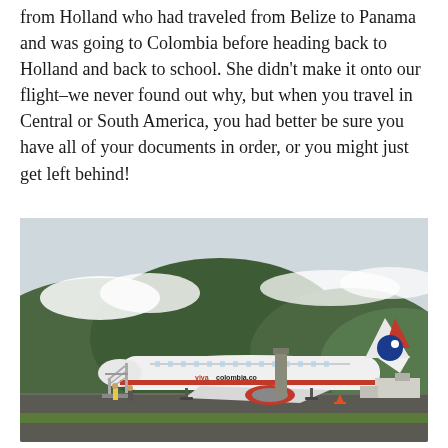from Holland who had traveled from Belize to Panama and was going to Colombia before heading back to Holland and back to school. She didn't make it onto our flight–we never found out why, but when you travel in Central or South America, you had better be sure you have all of your documents in order, or you might just get left behind!
[Figure (photo): A VivaColombia airline aircraft (white with red and blue livery) parked on a tarmac at an airport. Boarding stairs are positioned at the front door. Ground crew and equipment visible. Green forested mountains with low clouds in the background. The fuselage reads 'vivacolombia.co'.]